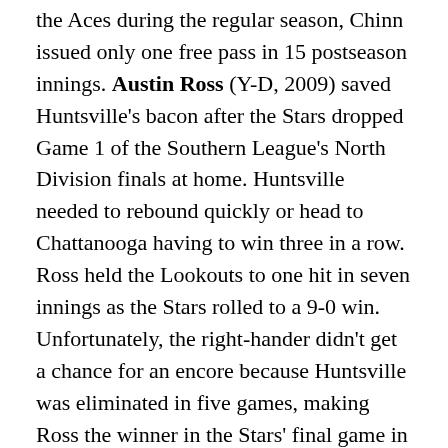the Aces during the regular season, Chinn issued only one free pass in 15 postseason innings. Austin Ross (Y-D, 2009) saved Huntsville's bacon after the Stars dropped Game 1 of the Southern League's North Division finals at home. Huntsville needed to rebound quickly or head to Chattanooga having to win three in a row. Ross held the Lookouts to one hit in seven innings as the Stars rolled to a 9-0 win. Unfortunately, the right-hander didn't get a chance for an encore because Huntsville was eliminated in five games, making Ross the winner in the Stars' final game in Huntsville. The team is moving to Biloxi, Miss., next season. D.J. Baxendale (Y-D, 2010) of Fort Myers gave up three unearned runs on 12 hits and four walks in 12 2/3 innings, but was the starter in both of the Miracle's series-clinching wins and a huge reason why Fort Myers captured its first FSL crown since 1985. A difficult season in which the 23-year-old Baxendale